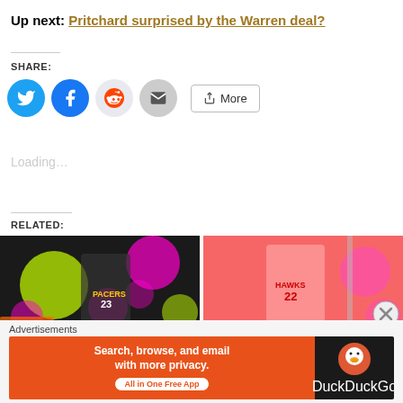Up next: Pritchard surprised by the Warren deal?
SHARE:
[Figure (other): Social share buttons: Twitter (blue circle), Facebook (blue circle), Reddit (light circle), Email (gray circle), More button]
Loading...
RELATED:
[Figure (photo): Basketball player in Pacers jersey with colorful bokeh dots overlay]
[Figure (photo): Basketball player in Hawks jersey number 22 celebrating]
Advertisements
[Figure (infographic): DuckDuckGo advertisement banner: Search, browse, and email with more privacy. All in One Free App]